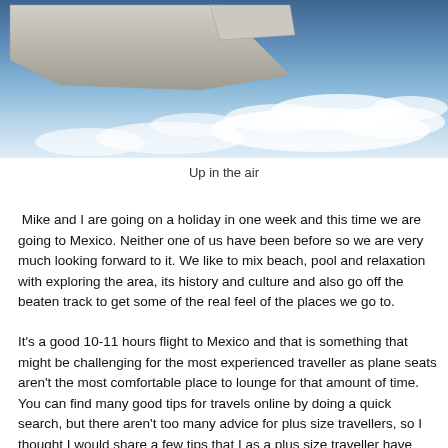[Figure (photo): View from airplane window showing airplane wing over clouds and blue sky.]
Up in the air
Mike and I are going on a holiday in one week and this time we are going to Mexico. Neither one of us have been before so we are very much looking forward to it. We like to mix beach, pool and relaxation with exploring the area, its history and culture and also go off the beaten track to get some of the real feel of the places we go to.
It's a good 10-11 hours flight to Mexico and that is something that might be challenging for the most experienced traveller as plane seats aren't the most comfortable place to lounge for that amount of time. You can find many good tips for travels online by doing a quick search, but there aren't too many advice for plus size travellers, so I thought I would share a few tips that I as a plus size traveller have found to be at help on all my travels. Cause even if you are fat it shouldn't stop you from seeing the world as it is one of the best